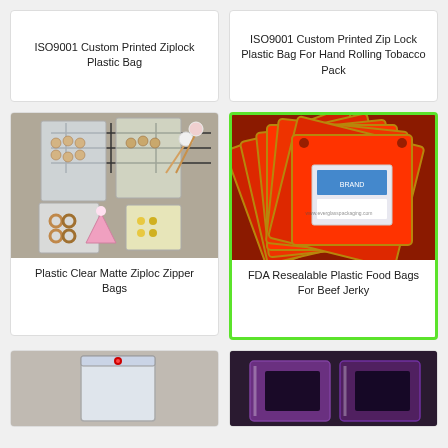ISO9001 Custom Printed Ziplock Plastic Bag
ISO9001 Custom Printed Zip Lock Plastic Bag For Hand Rolling Tobacco Pack
[Figure (photo): Clear zipper plastic bags with wooden beads, rings, and decorative items on a wooden surface]
Plastic Clear Matte Ziploc Zipper Bags
[Figure (photo): Stack of red plastic ziplock bags for tobacco, fanned out, shown with gold border details]
FDA Resealable Plastic Food Bags For Beef Jerky
[Figure (photo): Small clear ziplock plastic bag with red seal, partial view from bottom]
[Figure (photo): Dark colored plastic bags, partial view from bottom]